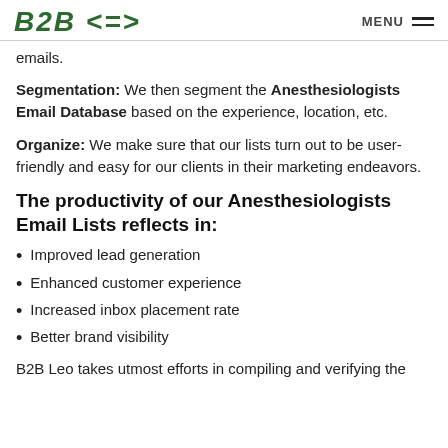B2B Leo logo | MENU
emails.
Segmentation: We then segment the Anesthesiologists Email Database based on the experience, location, etc.
Organize: We make sure that our lists turn out to be user-friendly and easy for our clients in their marketing endeavors.
The productivity of our Anesthesiologists Email Lists reflects in:
Improved lead generation
Enhanced customer experience
Increased inbox placement rate
Better brand visibility
B2B Leo takes utmost efforts in compiling and verifying the